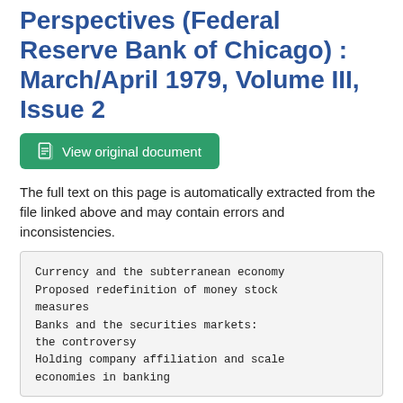Perspectives (Federal Reserve Bank of Chicago) : March/April 1979, Volume III, Issue 2
View original document
The full text on this page is automatically extracted from the file linked above and may contain errors and inconsistencies.
Currency and the subterranean economy
Proposed redefinition of money stock measures
Banks and the securities markets: the controversy
Holding company affiliation and scale economies in banking